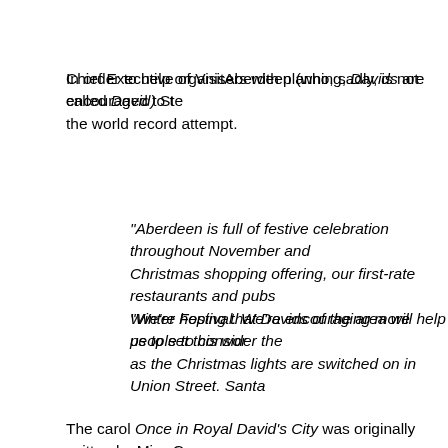In order to help organisers with planning, Davids are encouraged to t… the world record attempt.
Chief Executive of VisitAberdeen (who, sadly, is not called David) Ste…
“Aberdeen is full of festive celebration throughout November and… Christmas shopping offering, our first-rate restaurants and pubs… Winter Festival.  We’re encouraging more people to consider the…
“We’re hoping that Davids of the area will help us to set this wor… as the Christmas lights are switched on in Union Street.  Santa …
The carol Once in Royal David’s City was originally written by Miss C… much loved hymn All Things Bright and Beautiful, was published in 1… later.
The Festival of Nine lessons and carols at Kings College, Cambridge… begins with a boy chorister singing the first verse of Once in Royal D…
Keep up to date with Aberdeen’s world record attempt by visiting th…